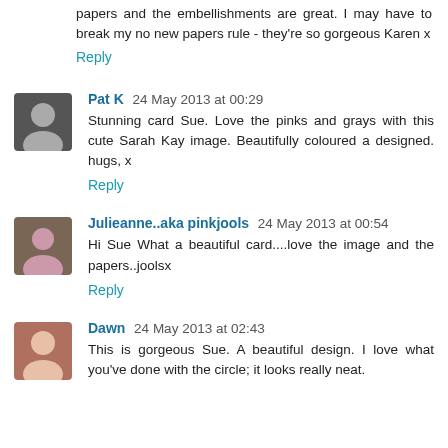papers and the embellishments are great. I may have to break my no new papers rule - they're so gorgeous Karen x
Reply
Pat K 24 May 2013 at 00:29
Stunning card Sue. Love the pinks and grays with this cute Sarah Kay image. Beautifully coloured a designed. hugs, x
Reply
Julieanne..aka pinkjools 24 May 2013 at 00:54
Hi Sue What a beautiful card....love the image and the papers..joolsx
Reply
Dawn 24 May 2013 at 02:43
This is gorgeous Sue. A beautiful design. I love what you've done with the circle; it looks really neat.